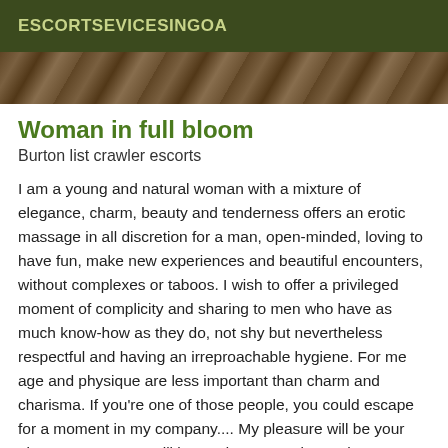ESCORTSEVICESINGOA
[Figure (photo): Partial photo strip showing decorative pattern, appearing to be a cropped image at the top of the content area]
Woman in full bloom
Burton list crawler escorts
I am a young and natural woman with a mixture of elegance, charm, beauty and tenderness offers an erotic massage in all discretion for a man, open-minded, loving to have fun, make new experiences and beautiful encounters, without complexes or taboos. I wish to offer a privileged moment of complicity and sharing to men who have as much know-how as they do, not shy but nevertheless respectful and having an irreproachable hygiene. For me age and physique are less important than charm and charisma. If you're one of those people, you could escape for a moment in my company.... My pleasure will be your pleasure. For you I will be tender, sensual, naughty, sweet, passionate... So if you want to get to know me,